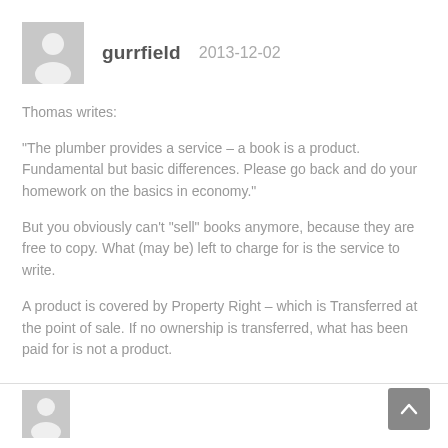[Figure (other): User avatar placeholder icon (grey silhouette)]
gurrfield   2013-12-02
Thomas writes:
“The plumber provides a service – a book is a product. Fundamental but basic differences. Please go back and do your homework on the basics in economy.”
But you obviously can't “sell” books anymore, because they are free to copy. What (may be) left to charge for is the service to write.
A product is covered by Property Right – which is Transferred at the point of sale. If no ownership is transferred, what has been paid for is not a product.